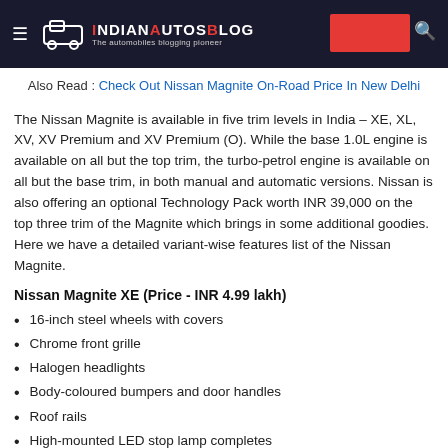IndianAutosBlog - The automobiles blogging pioneer
Also Read : Check Out Nissan Magnite On-Road Price In New Delhi
The Nissan Magnite is available in five trim levels in India – XE, XL, XV, XV Premium and XV Premium (O). While the base 1.0L engine is available on all but the top trim, the turbo-petrol engine is available on all but the base trim, in both manual and automatic versions. Nissan is also offering an optional Technology Pack worth INR 39,000 on the top three trim of the Magnite which brings in some additional goodies. Here we have a detailed variant-wise features list of the Nissan Magnite.
Nissan Magnite XE (Price - INR 4.99 lakh)
16-inch steel wheels with covers
Chrome front grille
Halogen headlights
Body-coloured bumpers and door handles
Roof rails
High-mounted LED stop lamp completes